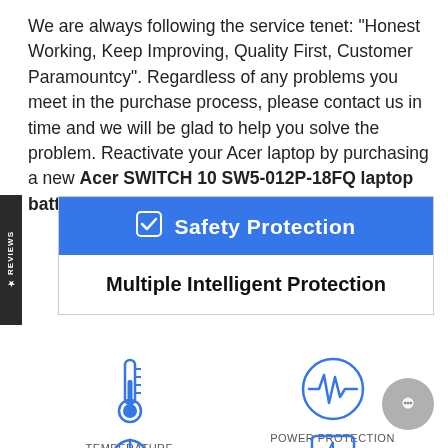We are always following the service tenet: "Honest Working, Keep Improving, Quality First, Customer Paramountcy". Regardless of any problems you meet in the purchase process, please contact us in time and we will be glad to help you solve the problem. Reactivate your Acer laptop by purchasing a new Acer SWITCH 10 SW5-012P-18FQ laptop battery!
[Figure (infographic): Safety Protection banner with blue background and checkmark icon, followed by 'Multiple Intelligent Protection' heading inside a bordered box with a vertical 'REVIEWS' tab on the left side]
[Figure (infographic): Two icons row: thermometer icon labeled TEMPERATURE PROTECTION and a waveform-in-circle icon labeled POWER PROTECTION]
[Figure (infographic): Two icons row partially visible at bottom: antenna/signal icon and lightning bolt in box icon]